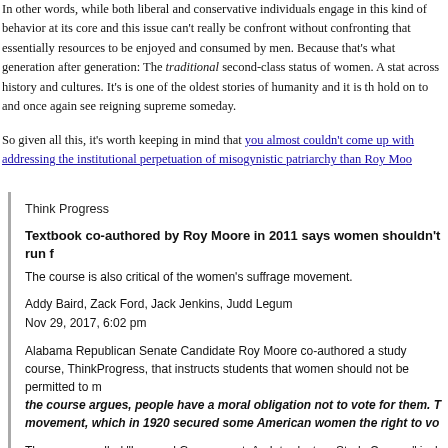In other words, while both liberal and conservative individuals engage in this kind of behavior at its core and this issue can't really be confront without confronting that essentially resources to be enjoyed and consumed by men. Because that's what generation after generation: The traditional second-class status of women. A status across history and cultures. It's is one of the oldest stories of humanity and it is the hold on to and once again see reigning supreme someday.
So given all this, it's worth keeping in mind that you almost couldn't come up with addressing the institutional perpetuation of misogynistic patriarchy than Roy Moo...
Think Progress

Textbook co-authored by Roy Moore in 2011 says women shouldn't run f...
The course is also critical of the women's suffrage movement.

Addy Baird, Zack Ford, Jack Jenkins, Judd Legum
Nov 29, 2017, 6:02 pm

Alabama Republican Senate Candidate Roy Moore co-authored a study course, ThinkProgress, that instructs students that women should not be permitted to... the course argues, people have a moral obligation not to vote for them. The movement, which in 1920 secured some American women the right to vo...

The course, called "Law and Government: An Introductory Study Course," incl... Moore and others, as well as a study guide. The course is available for purcha... is listed as a co-author alongside Doug Phillips, Dr. Joseph C. Morecraft,